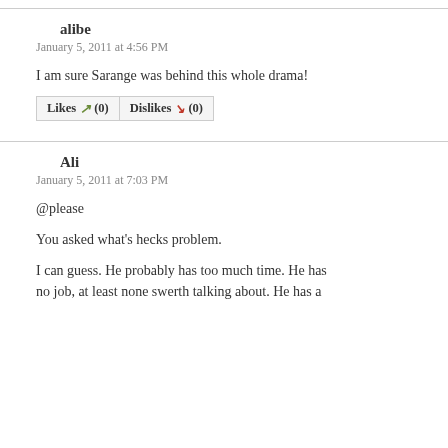alibe
January 5, 2011 at 4:56 PM
I am sure Sarange was behind this whole drama!
Likes (0)  Dislikes (0)
Ali
January 5, 2011 at 7:03 PM
@please
You asked what's hecks problem.
I can guess. He probably has too much time. He has no job, at least none swerth talking about. He has a